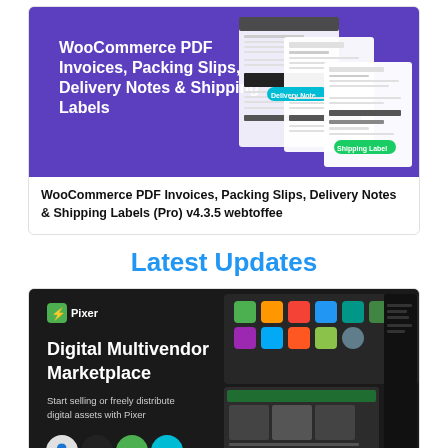[Figure (screenshot): WooCommerce PDF Invoices, Packing Slips, Delivery Notes & Shipping Labels plugin promotional banner with purple background showing sample documents]
WooCommerce PDF Invoices, Packing Slips, Delivery Notes & Shipping Labels (Pro) v4.3.5 webtoffee
Latest Updates
[Figure (screenshot): Pixer Digital Multivendor Marketplace dark-themed promotional banner showing app interfaces and icons. Text: Pixer, Digital Multivendor Marketplace, Start selling or freely distribute digital assets with Pixer]